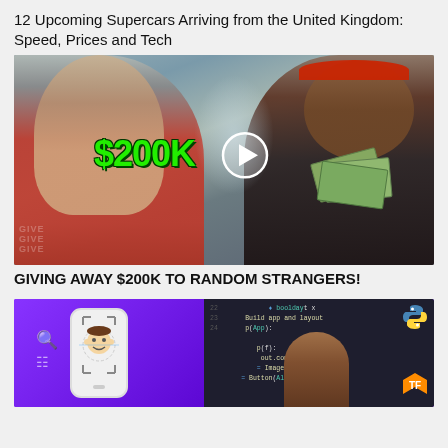12 Upcoming Supercars Arriving from the United Kingdom: Speed, Prices and Tech
[Figure (photo): Video thumbnail showing two young men outdoors with '$200K' text in green and a play button overlay. One man wears a red vest, the other wears a red headband and holds dollar bills.]
GIVING AWAY $200K TO RANDOM STRANGERS!
[Figure (screenshot): Thumbnail with purple background showing a phone illustration with a face recognition icon, a dark code editor with Python code visible, and logos for Python and TensorFlow.]